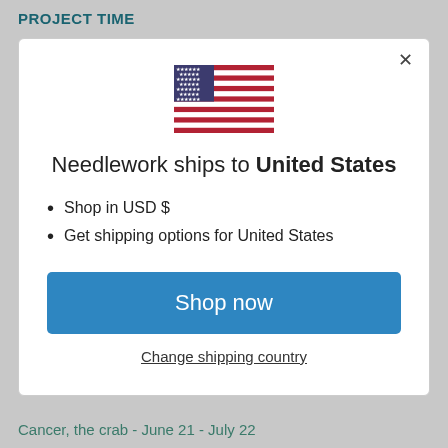PROJECT TIME
[Figure (illustration): US flag icon centered in modal dialog]
Needlework ships to United States
Shop in USD $
Get shipping options for United States
Shop now
Change shipping country
Cancer, the crab - June 21 - July 22